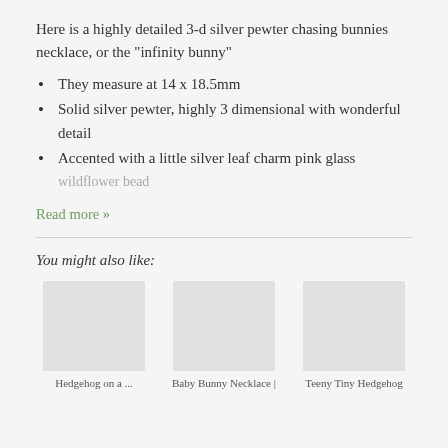Here is a highly detailed 3-d silver pewter chasing bunnies necklace, or the "infinity bunny"
They measure at 14 x 18.5mm
Solid silver pewter, highly 3 dimensional with wonderful detail
Accented with a little silver leaf charm pink glass wildflower bead
Read more »
You might also like:
Hedgehog on a ...
Baby Bunny Necklace |
Teeny Tiny Hedgehog